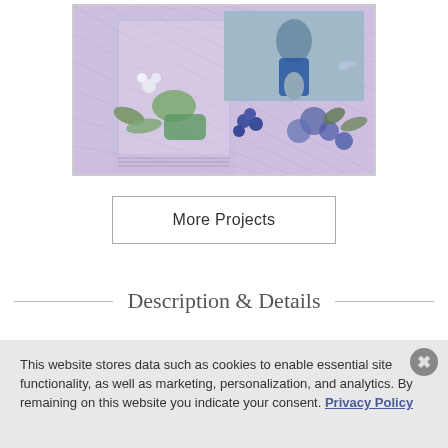[Figure (illustration): Decorative scrapbook page featuring a child in a blue shirt surrounded by blue and green floral embellishments, buttons, and patterned paper with lace borders]
More Projects
Description & Details
This website stores data such as cookies to enable essential site functionality, as well as marketing, personalization, and analytics. By remaining on this website you indicate your consent. Privacy Policy